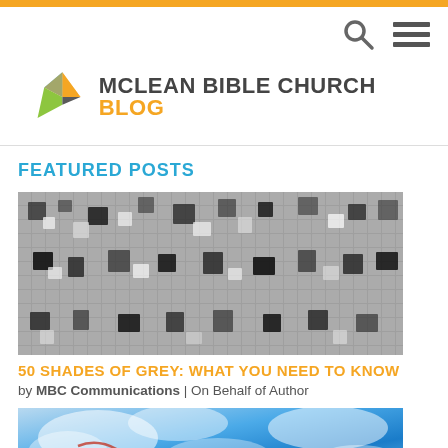McLean Bible Church Blog
FEATURED POSTS
[Figure (photo): Black and white mosaic tile image used as blog post thumbnail]
50 SHADES OF GREY: WHAT YOU NEED TO KNOW
by MBC Communications | On Behalf of Author
[Figure (photo): Blue and white abstract watercolor image used as second blog post thumbnail]